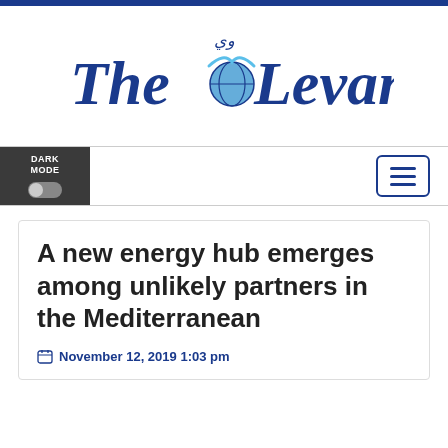[Figure (logo): The Levant newspaper logo in dark blue gothic/blackletter font with a globe and Arabic calligraphy accent, light blue swash on 'o']
A new energy hub emerges among unlikely partners in the Mediterranean
November 12, 2019 1:03 pm